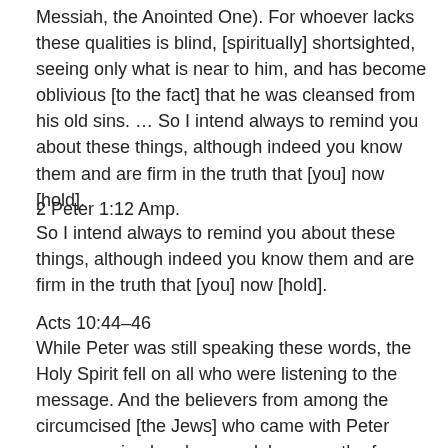Messiah, the Anointed One). For whoever lacks these qualities is blind, [spiritually] shortsighted, seeing only what is near to him, and has become oblivious [to the fact] that he was cleansed from his old sins. … So I intend always to remind you about these things, although indeed you know them and are firm in the truth that [you] now [hold].
2 Peter 1:12 Amp.
So I intend always to remind you about these things, although indeed you know them and are firm in the truth that [you] now [hold].
Acts 10:44–46
While Peter was still speaking these words, the Holy Spirit fell on all who were listening to the message. And the believers from among the circumcised [the Jews] who came with Peter were surprised and amazed, because the free gift of the Holy Spirit had been bestowed and poured